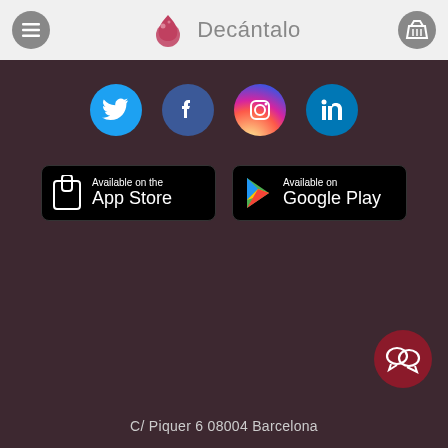Decántalo
[Figure (screenshot): Social media icons row: Twitter, Facebook, Instagram, LinkedIn]
[Figure (screenshot): App Store and Google Play download buttons]
[Figure (illustration): Chat/support button (dark red circle with speech bubbles)]
C/ Piquer 6 08004 Barcelona